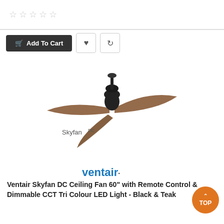[Figure (other): Five empty star rating icons in a row]
[Figure (other): Add To Cart button (dark), heart icon button, refresh icon button]
[Figure (photo): Ceiling fan with three dark wooden blades and black motor housing, with Skyfan DC branding label]
[Figure (logo): Ventair brand logo in blue text]
Ventair Skyfan DC Ceiling Fan 60" with Remote Control & Dimmable CCT Tri Colour LED Light - Black & Teak
$584.00 $654.00